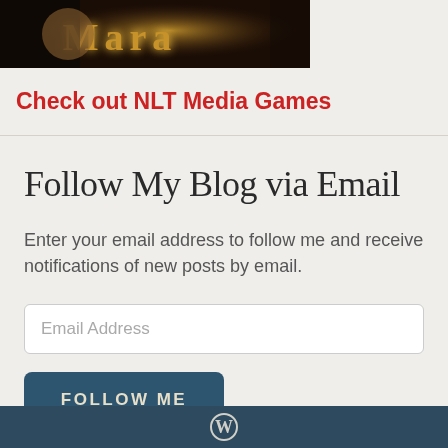[Figure (photo): Top portion of a game/media promotional image with dark fantasy styling and golden text reading 'Mara' or similar]
Check out NLT Media Games
Follow My Blog via Email
Enter your email address to follow me and receive notifications of new posts by email.
Email Address
FOLLOW ME
Join 810 other followers
WordPress logo